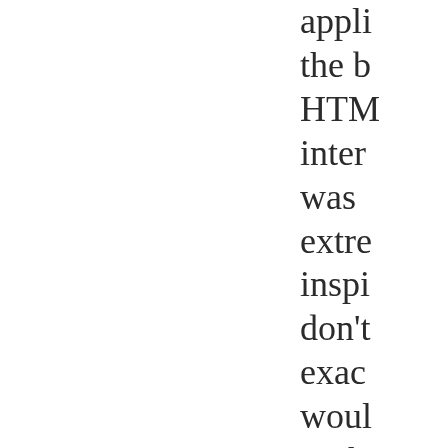appli the b HTM inter was extre inspi don't exac woul Pythe